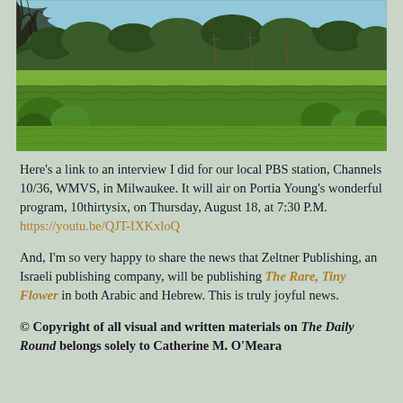[Figure (photo): Pastoral landscape photo showing green farm fields with crops in the foreground, rows of dense green trees in the midground, and a blue sky with scattered branches at the top. Utility poles are visible in the distance.]
Here's a link to an interview I did for our local PBS station, Channels 10/36, WMVS, in Milwaukee. It will air on Portia Young's wonderful program, 10thirtysix, on Thursday, August 18, at 7:30 P.M. https://youtu.be/QJT-IXKxloQ
And, I'm so very happy to share the news that Zeltner Publishing, an Israeli publishing company, will be publishing The Rare, Tiny Flower in both Arabic and Hebrew. This is truly joyful news.
© Copyright of all visual and written materials on The Daily Round belongs solely to Catherine M. O'Meara